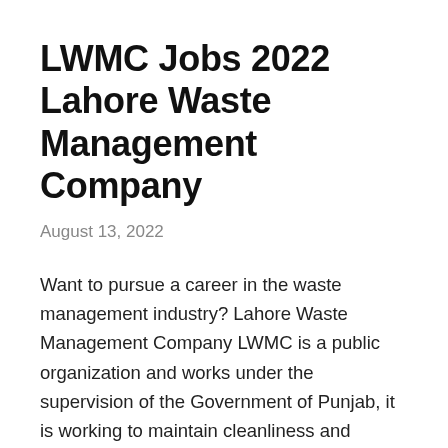LWMC Jobs 2022 Lahore Waste Management Company
August 13, 2022
Want to pursue a career in the waste management industry? Lahore Waste Management Company LWMC is a public organization and works under the supervision of the Government of Punjab, it is working to maintain cleanliness and sanitation at the city level. It is one of the best Govt. jobs in Lahore for all those candidates … Read more